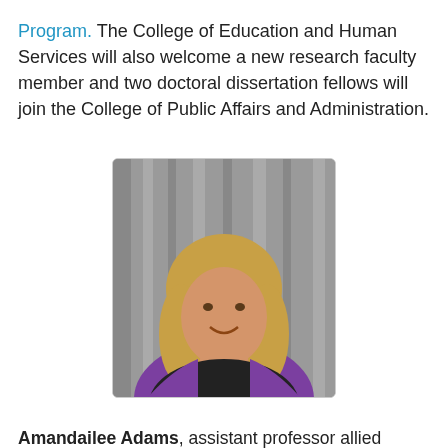Program. The College of Education and Human Services will also welcome a new research faculty member and two doctoral dissertation fellows will join the College of Public Affairs and Administration.
[Figure (photo): Professional headshot of Amandailee Adams, a woman with long blonde wavy hair wearing a purple cardigan over a black floral top, photographed against a gray curtain background.]
Amandailee Adams, assistant professor allied health/medical laboratory science in the College of Liberal Arts & Sciences, hold a master's degree in biology from the University of Illinois Springfield. Her research interests include microbial biofilms and studying antibiotic resistant microorganisms in the clinical setting. Outside of work, she enjoys family adventures, traveling, boating and mentoring children.